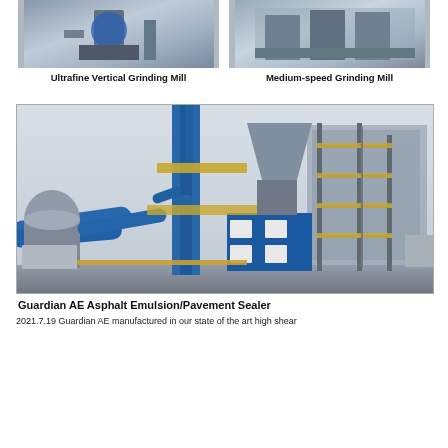[Figure (photo): Photo of Ultrafine Vertical Grinding Mill industrial equipment]
Ultrafine Vertical Grinding Mill
[Figure (photo): Photo of Medium-speed Grinding Mill industrial equipment]
Medium-speed Grinding Mill
[Figure (photo): Large industrial facility photo showing Guardian AE Asphalt Emulsion/Pavement Sealer plant with blue towers, pipes, and scaffolding structure]
Guardian AE Asphalt Emulsion/Pavement Sealer
2021.7.19 Guardian AE manufactured in our state of the art high shear